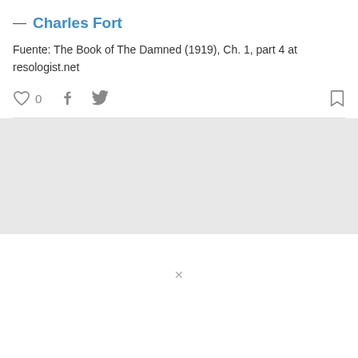— Charles Fort
Fuente: The Book of The Damned (1919), Ch. 1, part 4 at resologist.net
♡ 0  f  🐦  🔖